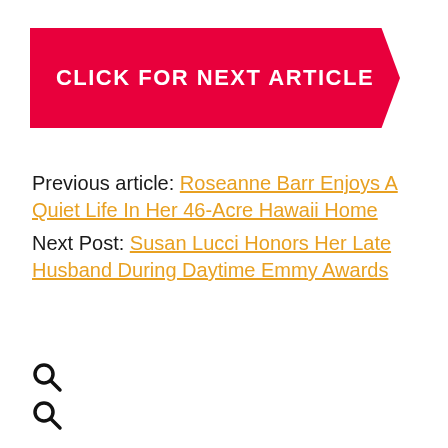CLICK FOR NEXT ARTICLE
Previous article: Roseanne Barr Enjoys A Quiet Life In Her 46-Acre Hawaii Home
Next Post: Susan Lucci Honors Her Late Husband During Daytime Emmy Awards
[Figure (other): Two search/magnifying glass icons stacked vertically]